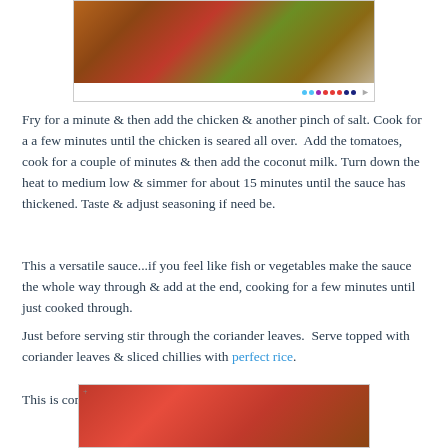[Figure (photo): Top portion of a food photo showing colorful ingredients including tomatoes, herbs, and spices with navigation dots below]
Fry for a minute & then add the chicken & another pinch of salt. Cook for a a few minutes until the chicken is seared all over.  Add the tomatoes, cook for a couple of minutes & then add the coconut milk. Turn down the heat to medium low & simmer for about 15 minutes until the sauce has thickened. Taste & adjust seasoning if need be.
This a versatile sauce...if you feel like fish or vegetables make the sauce the whole way through & add at the end, cooking for a few minutes until just cooked through.
Just before serving stir through the coriander leaves.  Serve topped with coriander leaves & sliced chillies with perfect rice.
This is comfort food, warming, aromatic, spicy, creamy.
[Figure (photo): Bottom portion of a food photo showing a red dish with garnishes]